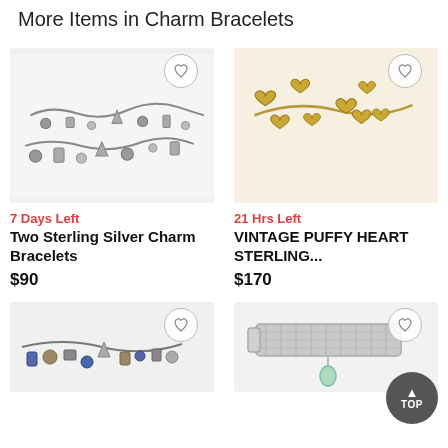More Items in Charm Bracelets
[Figure (photo): Two sterling silver charm bracelets with various charms, on white background]
7 Days Left
Two Sterling Silver Charm Bracelets
$90
[Figure (photo): Vintage puffy heart sterling bracelet with gold-toned heart charms]
21 Hrs Left
VINTAGE PUFFY HEART STERLING...
$170
[Figure (photo): Charm bracelet with colorful mixed charms including blue stones and various trinkets]
[Figure (photo): Wide woven silver bracelet with light blue gemstone charm pendant]